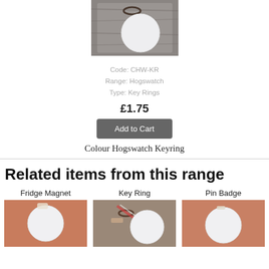[Figure (photo): Photo of a keyring on a wooden surface — white circular disc with a metal ring]
Code: CHW-KR
Range: Hogswatch
Type: Key Rings
£1.75
Add to Cart
Colour Hogswatch Keyring
Related items from this range
Fridge Magnet
[Figure (photo): Photo of a fridge magnet product — white circular disc with colourful design, pink/orange background]
Key Ring
[Figure (photo): Photo of a key ring product — white circular disc with metal ring, colourful ribbon]
Pin Badge
[Figure (photo): Photo of a pin badge product — white circular disc, pink/orange background]